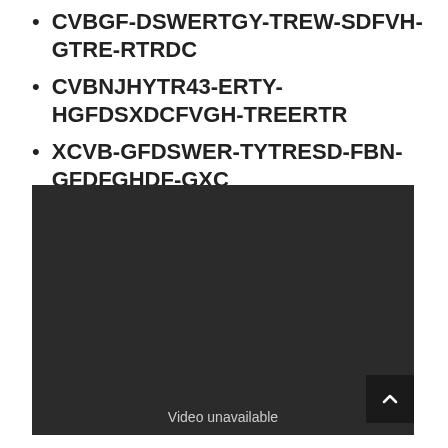CVBGF-DSWERTGY-TREW-SDFVH-GTRE-RTRDC
CVBNJHYTR43-ERTY-HGFDSXDCFVGH-TREERTR
XCVB-GFDSWER-TYTRESD-FBN-GFDFGHDF-GXC
[Figure (screenshot): Dark video player area showing 'Video unavailable' message with a scroll-to-top button in the bottom right corner]